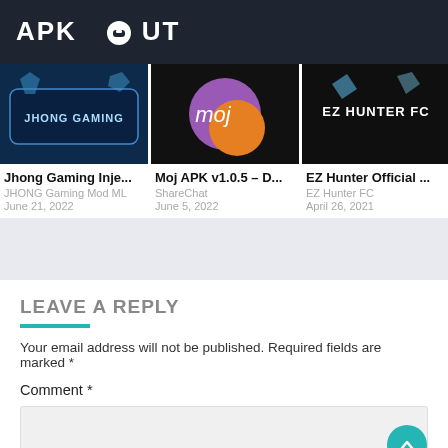APK ABOUT
[Figure (screenshot): Jhong Gaming Injector app thumbnail with dark blue background and gaming text]
Jhong Gaming Inje...
JHONG Gaming Mod ML
June 21, 2022
[Figure (screenshot): Moj APK logo with purple and orange circle on dark background]
Moj APK v1.0.5 – D...
ShareChat
June 5, 2022
[Figure (screenshot): EZ Hunter FC app banner with dark background and text EZ HUNTER FC]
EZ Hunter Official ...
EZ Hunter FC
April 26, 2021
LEAVE A REPLY
Your email address will not be published. Required fields are marked *
Comment *